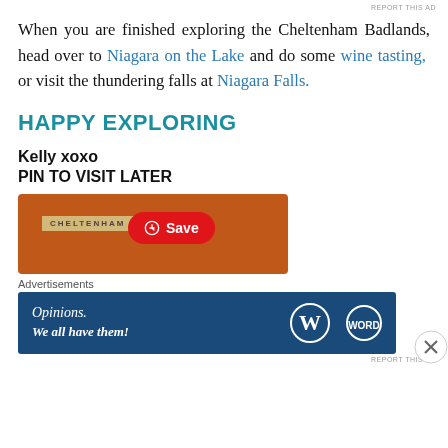REPORT THIS AD
When you are finished exploring the Cheltenham Badlands, head over to Niagara on the Lake and do some wine tasting, or visit the thundering falls at Niagara Falls.
HAPPY EXPLORING
Kelly xoxo
PIN TO VISIT LATER
[Figure (screenshot): Pinterest Save button overlay on a rust/orange image with CHELTENHAM BAD[LANDS] label bar]
Advertisements
[Figure (screenshot): WordPress advertisement banner: Opinions. We all have them! with WordPress and WordPress.com logos]